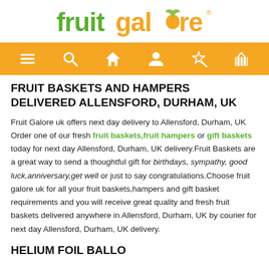[Figure (logo): Fruit Galore logo with green and orange text and a small green leaf]
[Figure (infographic): Orange navigation bar with six white icons: hamburger menu, search, home, user, wand/star, shopping basket]
FRUIT BASKETS AND HAMPERS DELIVERED ALLENSFORD, DURHAM, UK
Fruit Galore uk offers next day delivery to Allensford, Durham, UK Order one of our fresh fruit baskets,fruit hampers or gift baskets today for next day Allensford, Durham, UK delivery.Fruit Baskets are a great way to send a thoughtful gift for birthdays, sympathy, good luck,anniversary,get well or just to say congratulations.Choose fruit galore uk for all your fruit baskets,hampers and gift basket requirements and you will receive great quality and fresh fruit baskets delivered anywhere in Allensford, Durham, UK by courier for next day Allensford, Durham, UK delivery.
HELIUM FOIL BALLOONS